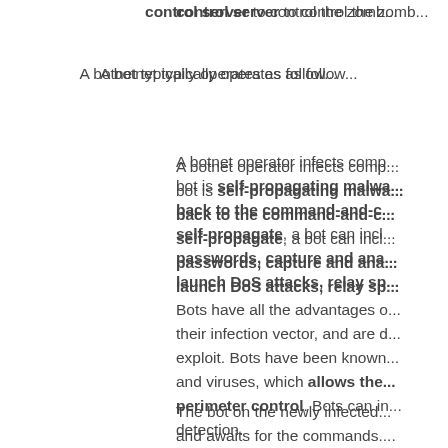control server to control the zomb...
A botnet typically operates as follow...
A botnet operator infects comp... bot is self-propagating malwa... back to the command-and-c... self-propagate, a bot can incl... passwords, capture and ana... launch DoS attacks, relay sp...
Bots have all the advantages o... their infection vector, and are d... exploit. Bots have been known... and viruses, which allows the... perimeter control. Bots can in... detection.
The bot on the newly infected... and awaits for the commands.... P2P, DNS, HTTP, and HTTPS... encrypted using TLS or SSL...